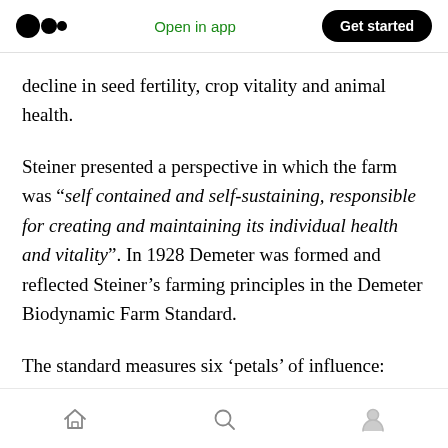Open in app | Get started
decline in seed fertility, crop vitality and animal health.
Steiner presented a perspective in which the farm was “self contained and self-sustaining, responsible for creating and maintaining its individual health and vitality”. In 1928 Demeter was formed and reflected Steiner’s farming principles in the Demeter Biodynamic Farm Standard.
The standard measures six ‘petals’ of influence:
[home] [search] [profile]